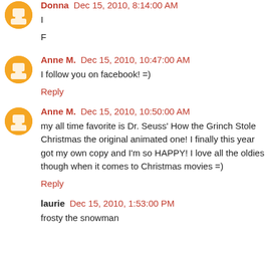Donna  Dec 15, 2010, 8:14:00 AM
I
F
Anne M.  Dec 15, 2010, 10:47:00 AM
I follow you on facebook! =)
Reply
Anne M.  Dec 15, 2010, 10:50:00 AM
my all time favorite is Dr. Seuss' How the Grinch Stole Christmas the original animated one! I finally this year got my own copy and I'm so HAPPY! I love all the oldies though when it comes to Christmas movies =)
Reply
laurie  Dec 15, 2010, 1:53:00 PM
frosty the snowman